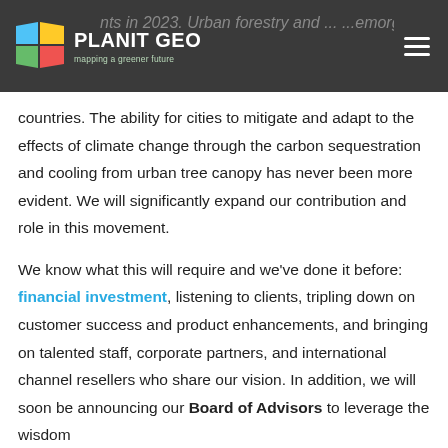PlanitGeo — mapping a greener future
countries. The ability for cities to mitigate and adapt to the effects of climate change through the carbon sequestration and cooling from urban tree canopy has never been more evident. We will significantly expand our contribution and role in this movement.
We know what this will require and we've done it before: financial investment, listening to clients, tripling down on customer success and product enhancements, and bringing on talented staff, corporate partners, and international channel resellers who share our vision. In addition, we will soon be announcing our Board of Advisors to leverage the wisdom